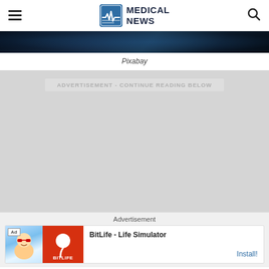MEDICAL NEWS
[Figure (photo): Dark abstract medical/science background image strip]
Pixabay
ADVERTISEMENT - CONTINUE READING BELOW
[Figure (other): Advertisement placeholder area (gray background)]
Advertisement
[Figure (other): Ad card: BitLife - Life Simulator app advertisement with Install button]